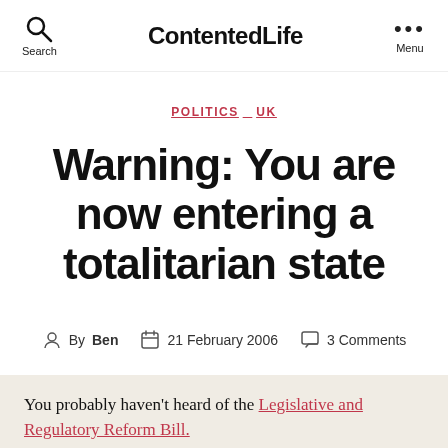ContentedLife
POLITICS  UK
Warning: You are now entering a totalitarian state
By Ben  21 February 2006  3 Comments
You probably haven't heard of the Legislative and Regulatory Reform Bill.